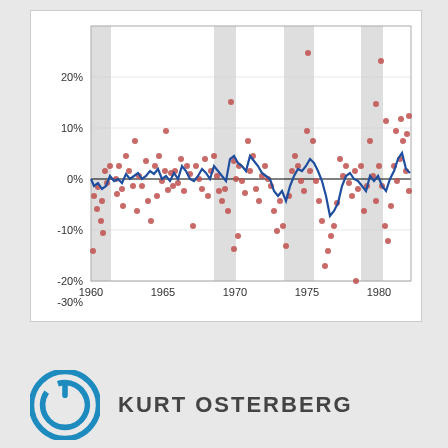[Figure (continuous-plot): Scatter plot with blue line overlay showing monthly percentage returns from 1960 to 1982. Red dots represent individual data points; blue line represents a smoothed trend. Gray shaded vertical bands indicate recession periods. Y-axis ranges from -30% to 20%, x-axis from 1960 to 1982.]
KURT OSTERBERG